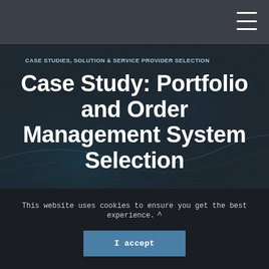Navigation bar with hamburger menu icon
CASE STUDIES, SOLUTION & SERVICE PROVIDER SELECTION
Case Study: Portfolio and Order Management System Selection
This website uses cookies to ensure you get the best experience.
I accept